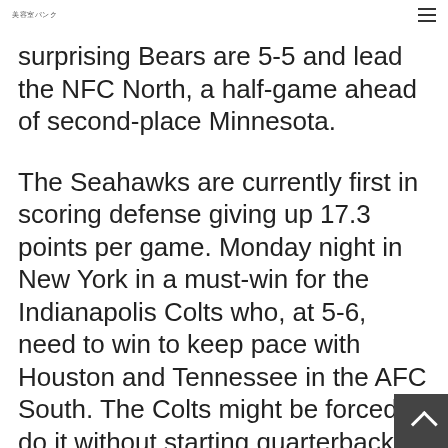美容室パンク
surprising Bears are 5-5 and lead the NFC North, a half-game ahead of second-place Minnesota.
The Seahawks are currently first in scoring defense giving up 17.3 points per game. Monday night in New York in a must-win for the Indianapolis Colts who, at 5-6, need to win to keep pace with Houston and Tennessee in the AFC South. The Colts might be forced to do it without starting quarterback Andrew Luck.